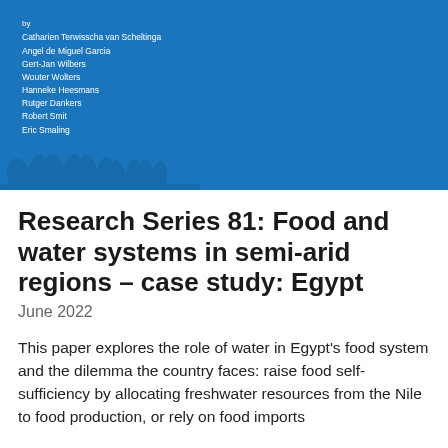[Figure (illustration): Blue cover image with author names listed in white text on a blue background, with decorative plant/reed silhouettes at the bottom left]
Research Series 81: Food and water systems in semi-arid regions – case study: Egypt
June 2022
This paper explores the role of water in Egypt's food system and the dilemma the country faces: raise food self-sufficiency by allocating freshwater resources from the Nile to food production, or rely on food imports